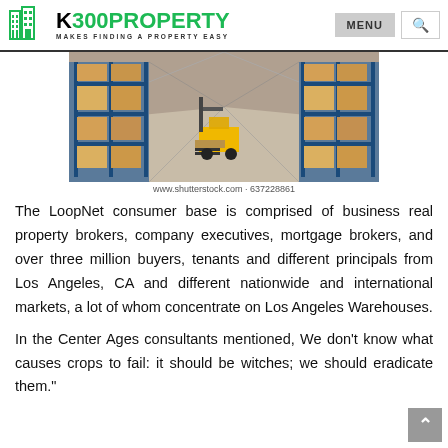[Figure (logo): K300 Property logo with building icon, green and black text, tagline MAKES FINDING A PROPERTY EASY, plus MENU button and search icon]
[Figure (photo): Warehouse interior with blue steel shelving racks full of boxes and a yellow forklift driving down the aisle]
www.shutterstock.com · 637228861
The LoopNet consumer base is comprised of business real property brokers, company executives, mortgage brokers, and over three million buyers, tenants and different principals from Los Angeles, CA and different nationwide and international markets, a lot of whom concentrate on Los Angeles Warehouses.
In the Center Ages consultants mentioned, We don't know what causes crops to fail: it should be witches; we should eradicate them."